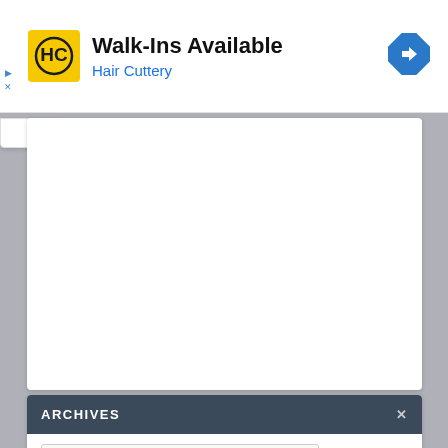[Figure (infographic): Hair Cuttery advertisement banner with logo, 'Walk-Ins Available' text, and navigation arrow icon]
[Figure (other): White content panel/card area below the ad banner]
ARCHIVES
Select Month